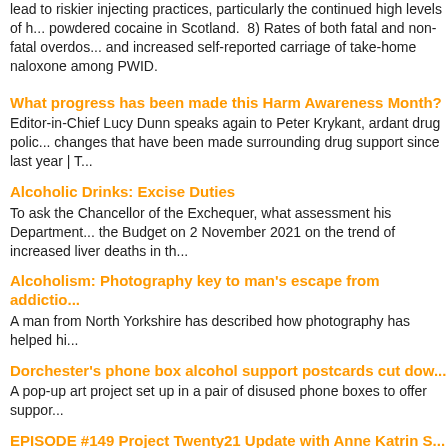lead to riskier injecting practices, particularly the continued high levels of powdered cocaine in Scotland. 8) Rates of both fatal and non-fatal overdos... and increased self-reported carriage of take-home naloxone among PWID.
What progress has been made this Harm Awareness Month?
Editor-in-Chief Lucy Dunn speaks again to Peter Krykant, ardant drug polic... changes that have been made surrounding drug support since last year | T...
Alcoholic Drinks: Excise Duties
To ask the Chancellor of the Exchequer, what assessment his Department... the Budget on 2 November 2021 on the trend of increased liver deaths in th...
Alcoholism: Photography key to man's escape from addictio...
A man from North Yorkshire has described how photography has helped hi...
Dorchester's phone box alcohol support postcards cut dow...
A pop-up art project set up in a pair of disused phone boxes to offer suppor...
EPISODE #149 Project Twenty21 Update with Anne Katrin S...
This week we're excited to welcome Mags Houston and Dr. Anne Katrin Sc... Cannabis Conversation, UK
Armed Buckingham Palace intruder who entered grounds w...
Cameron Kalani, 44, admitted trespassing and possession of a knife and c...
Labour councillor to face US extradition over alleged drug o...
Daniel Barwell, who was elected in Doncaster in May 2021, was detained b...
Rangi Chase: Former Man of Steel gets reduced drug ban af...
The 35-year-old has now served the ban, which was triggered by traces of...